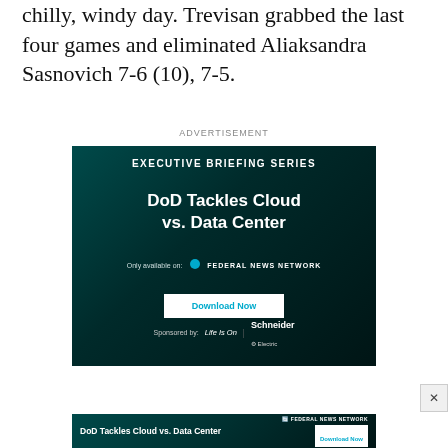chilly, windy day. Trevisan grabbed the last four games and eliminated Aliaksandra Sasnovich 7-6 (10), 7-5.
ADVERTISEMENT
[Figure (screenshot): Advertisement banner: Executive Briefing Series - DoD Tackles Cloud vs. Data Center, Only available on Federal News Network, Download Now button, Sponsored by Life Is On Schneider Electric]
[Figure (screenshot): Second advertisement banner: DoD Tackles Cloud vs. Data Center, Federal News Network logo, Download Now button]